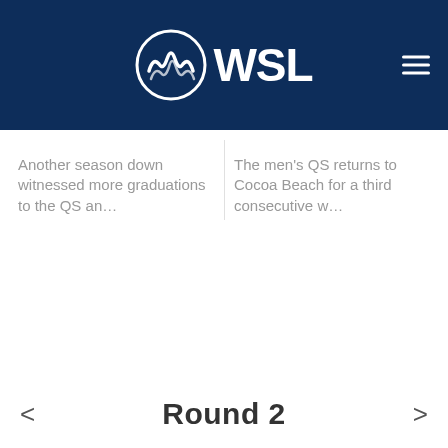WSL
Another season down witnessed more graduations to the QS an…
The men's QS returns to Cocoa Beach for a third consecutive w…
Round 2